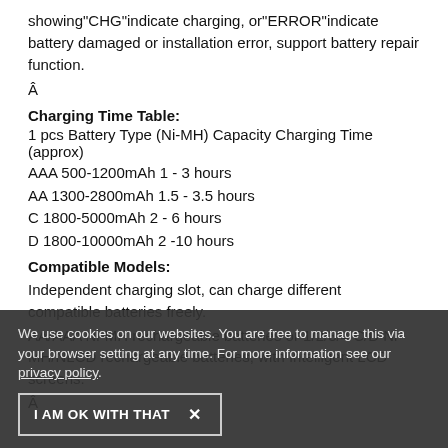showing"CHG"indicate charging, or"ERROR"indicate battery damaged or installation error, support battery repair function.
Â
Charging Time Table:
1 pcs Battery Type (Ni-MH) Capacity Charging Time (approx)
AAA 500-1200mAh 1 - 3 hours
AA 1300-2800mAh 1.5 - 3.5 hours
C 1800-5000mAh 2 - 6 hours
D 1800-10000mAh 2 -10 hours
Compatible Models:
Independent charging slot, can charge different compatible batteries freely.
AA/AAA Ni-MH rechargeable batteries or 1/2/3/4 C/D Ni-MH/NLCD rechargeable batteries, with Intelligent LCD screens.
Â
We use cookies on our websites. You are free to manage this via your browser setting at any time. For more information see our privacy policy.
I AM OK WITH THAT  ×